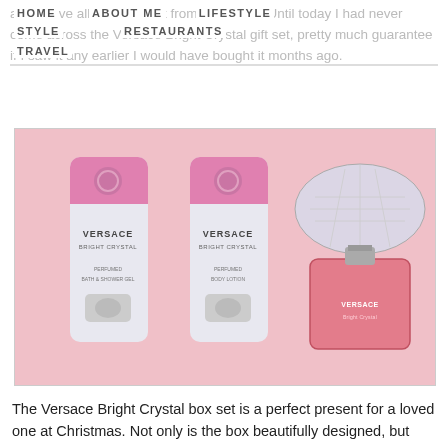HOME | ABOUT ME | LIFESTYLE | STYLE | RESTAURANTS | TRAVEL
and above all it stands out from the crowd. Until today I had never come across the Versace Bright Crystal gift set, pretty much guarantee if I saw it any earlier I would have bought it months ago.
[Figure (photo): Photo of Versace Bright Crystal gift set on pink background, showing two tubes (bath & shower gel and body lotion) and a perfume bottle]
The Versace Bright Crystal box set is a perfect present for a loved one at Christmas. Not only is the box beautifully designed, but also